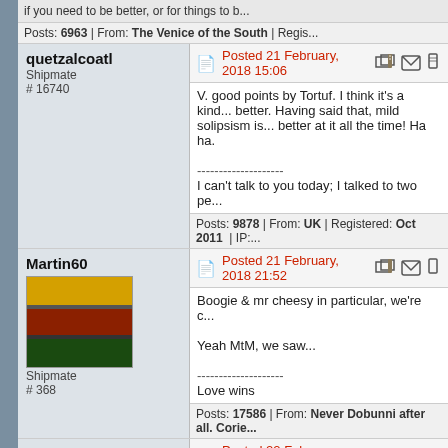if you need to be better, or for things to b...
Posts: 6963 | From: The Venice of the South | Regis...
quetzalcoatl
Shipmate
# 16740
Posted 21 February, 2018 15:06
V. good points by Tortuf. I think it's a kind... better. Having said that, mild solipsism is... better at it all the time! Ha ha.
--------------------
I can't talk to you today; I talked to two pe...
Posts: 9878 | From: UK | Registered: Oct 2011 | IP:
Martin60
Shipmate
# 368
Posted 21 February, 2018 21:52
Boogie & mr cheesy in particular, we're c...
Yeah MtM, we saw...
--------------------
Love wins
Posts: 17586 | From: Never Dobunni after all. Corie...
simontoad
Ship's Amphibian
# 18096
Posted 22 February, 2018 05:58
quote:
Originally posted by quetzalcoatl:
My wife just said to me, it's OK...